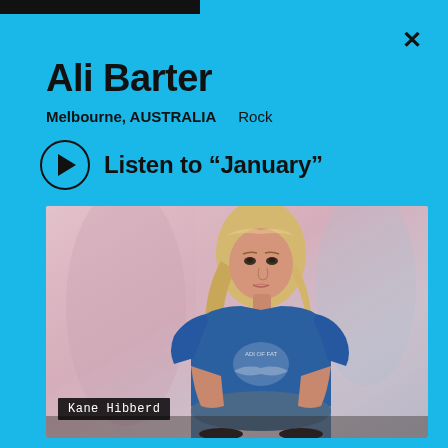Ali Barter
Melbourne, AUSTRALIA   Rock
Listen to “January”
[Figure (photo): Photo of Ali Barter, a blonde woman seated, wearing a blue 'Lady of Fatima' t-shirt and jeans, against a pink fabric backdrop. Photo credit: Kane Hibberd.]
Kane Hibberd